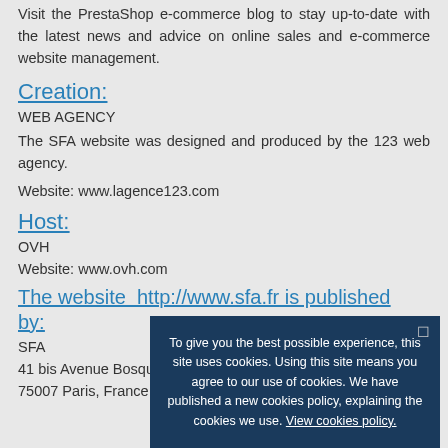Visit the PrestaShop e-commerce blog to stay up-to-date with the latest news and advice on online sales and e-commerce website management.
Creation:
WEB AGENCY
The SFA website was designed and produced by the 123 web agency.
Website: www.lagence123.com
Host:
OVH
Website: www.ovh.com
The website http://www.sfa.fr is published by:
SFA
41 bis Avenue Bosquet
75007 Paris, France
[Figure (screenshot): Cookie consent overlay with dark blue background. Text reads: 'To give you the best possible experience, this site uses cookies. Using this site means you agree to our use of cookies. We have published a new cookies policy, explaining the cookies we use. View cookies policy.' with an Accept button.]